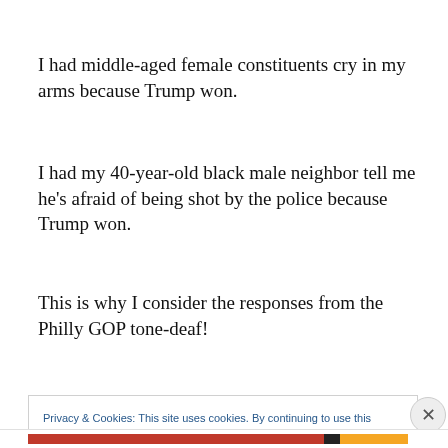I had middle-aged female constituents cry in my arms because Trump won.
I had my 40-year-old black male neighbor tell me he’s afraid of being shot by the police because Trump won.
This is why I consider the responses from the Philly GOP tone-deaf!
This is why I am so furious about the reaction from the
Privacy & Cookies: This site uses cookies. By continuing to use this website, you agree to their use.
To find out more, including how to control cookies, see here: Cookie Policy
Close and accept